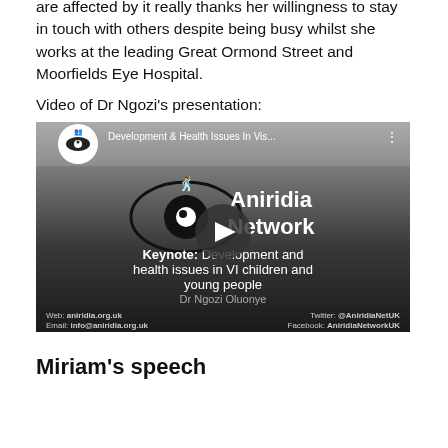are affected by it really thanks her willingness to stay in touch with others despite being busy whilst she works at the leading Great Ormond Street and Moorfields Eye Hospital.
Video of Dr Ngozi's presentation:
[Figure (screenshot): YouTube video thumbnail showing Aniridia Network keynote presentation titled 'Development and health issues in VI children and young people' by Dr Ngozi Oluonye, with play button overlay. Dark gradient background with Aniridia Network logo (eye with people), web/email/social contact details at bottom.]
Miriam's speech